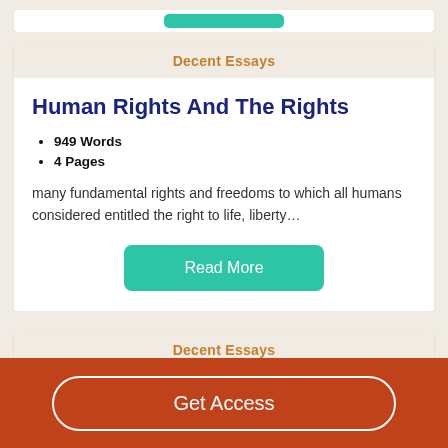Decent Essays
Human Rights And The Rights
949 Words
4 Pages
many fundamental rights and freedoms to which all humans considered entitled the right to life, liberty…
Decent Essays
Get Access